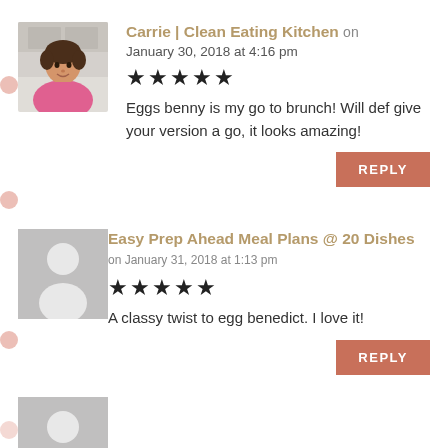[Figure (photo): Avatar photo of Carrie, a woman in a pink shirt in a kitchen]
Carrie | Clean Eating Kitchen on January 30, 2018 at 4:16 pm ★★★★★ Eggs benny is my go to brunch! Will def give your version a go, it looks amazing!
REPLY
[Figure (illustration): Generic grey avatar placeholder silhouette]
Easy Prep Ahead Meal Plans @ 20 Dishes on January 31, 2018 at 1:13 pm ★★★★★ A classy twist to egg benedict. I love it!
REPLY